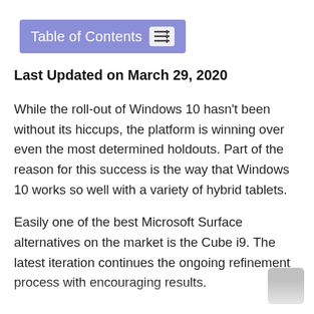Table of Contents
Last Updated on March 29, 2020
While the roll-out of Windows 10 hasn't been without its hiccups, the platform is winning over even the most determined holdouts. Part of the reason for this success is the way that Windows 10 works so well with a variety of hybrid tablets.
Easily one of the best Microsoft Surface alternatives on the market is the Cube i9. The latest iteration continues the ongoing refinement process with encouraging results.